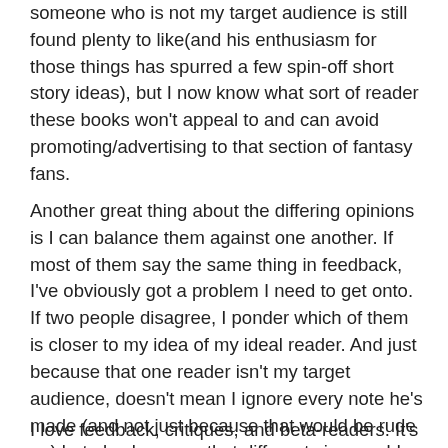someone who is not my target audience is still found plenty to like(and his enthusiasm for those things has spurred a few spin-off short story ideas), but I now know what sort of reader these books won't appeal to and can avoid promoting/advertising to that section of fantasy fans.
Another great thing about the differing opinions is I can balance them against one another. If most of them say the same thing in feedback, I've obviously got a problem I need to get onto. If two people disagree, I ponder which of them is closer to my idea of my ideal reader. And just because that one reader isn't my target audience, doesn't mean I ignore every note he's made (and not just because that would be rude ;p ) but also because that different view could be just the right spice to offset elements of my story.
I love feedback, critiques, and beta-readers. It's all so helpful to see how other people see my writing, and I'm